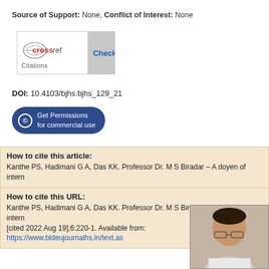Source of Support: None, Conflict of Interest: None
[Figure (logo): CrossRef Citations logo with Check button]
DOI: 10.4103/bjhs.bjhs_129_21
[Figure (other): Get Permissions for commercial use button]
How to cite this article:
Kanthe PS, Hadimani G A, Das KK. Professor Dr. M S Biradar – A doyen of intern
How to cite this URL:
Kanthe PS, Hadimani G A, Das KK. Professor Dr. M S Biradar – A doyen of intern
[cited 2022 Aug 19];6:220-1. Available from: https://www.bldeujournalhs.in/text.as
[Figure (photo): Portrait photo of a man with glasses]